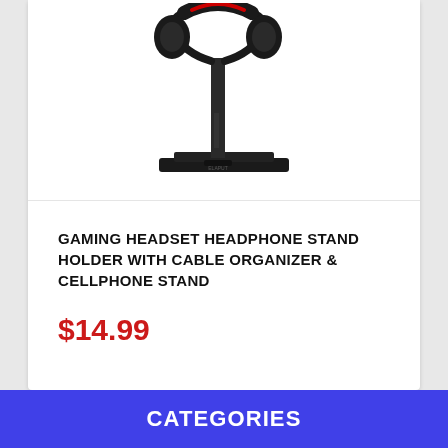[Figure (photo): Black gaming headset mounted on a black headphone stand with a flat rectangular base]
GAMING HEADSET HEADPHONE STAND HOLDER WITH CABLE ORGANIZER & CELLPHONE STAND
$14.99
CHECK IT OUT!
CATEGORIES